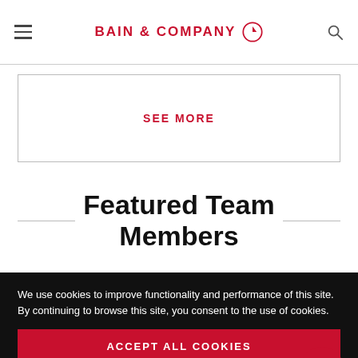BAIN & COMPANY
SEE MORE
Featured Team Members
We use cookies to improve functionality and performance of this site. By continuing to browse this site, you consent to the use of cookies.
ACCEPT ALL COOKIES
Manage cookie settings ▶